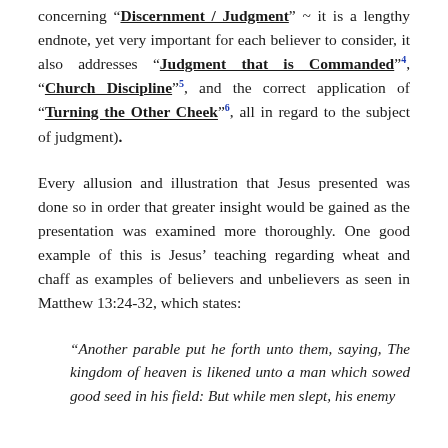concerning “Discernment / Judgment” ~ it is a lengthy endnote, yet very important for each believer to consider, it also addresses “Judgment that is Commanded”⁴, “Church Discipline”⁵, and the correct application of “Turning the Other Cheek”⁶, all in regard to the subject of judgment).
Every allusion and illustration that Jesus presented was done so in order that greater insight would be gained as the presentation was examined more thoroughly. One good example of this is Jesus’ teaching regarding wheat and chaff as examples of believers and unbelievers as seen in Matthew 13:24-32, which states:
“Another parable put he forth unto them, saying, The kingdom of heaven is likened unto a man which sowed good seed in his field: But while men slept, his enemy